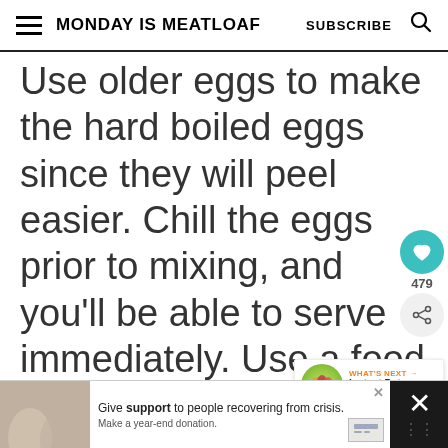MONDAY IS MEATLOAF  SUBSCRIBE
Use older eggs to make the hard boiled eggs since they will peel easier. Chill the eggs prior to mixing, and you'll be able to serve immediately. Use a food processor to make a smoother filling. For pretty eggs use a cake decorator piping bag for p perfect appetizers
WHAT'S NEXT → Instant Pot Easter Eggs
Give support to people recovering from crisis. Make a year-end donation.